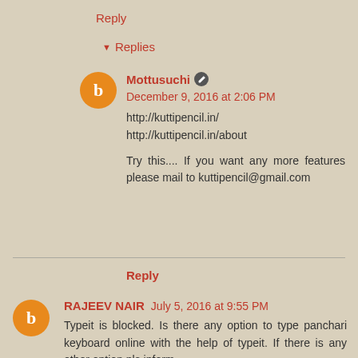Reply
Replies
Mottusuchi  December 9, 2016 at 2:06 PM
http://kuttipencil.in/
http://kuttipencil.in/about

Try this.... If you want any more features please mail to kuttipencil@gmail.com
Reply
RAJEEV NAIR  July 5, 2016 at 9:55 PM
Typeit is blocked. Is there any option to type panchari keyboard online with the help of typeit. If there is any other option pls inform.
Reply